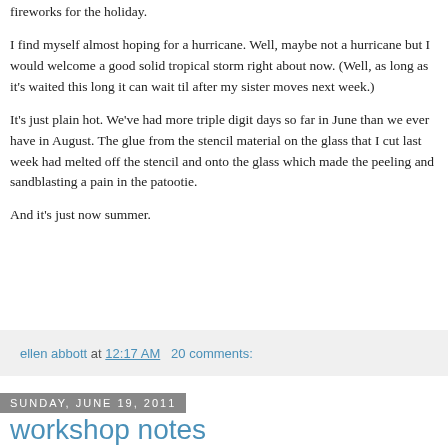fireworks for the holiday.
I find myself almost hoping for a hurricane. Well, maybe not a hurricane but I would welcome a good solid tropical storm right about now. (Well, as long as it's waited this long it can wait til after my sister moves next week.)
It's just plain hot. We've had more triple digit days so far in June than we ever have in August. The glue from the stencil material on the glass that I cut last week had melted off the stencil and onto the glass which made the peeling and sandblasting a pain in the patootie.
And it's just now summer.
ellen abbott at 12:17 AM   20 comments:
Sunday, June 19, 2011
workshop notes